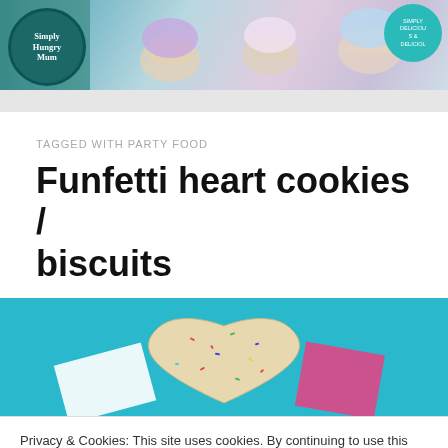[Figure (photo): Website header banner for 'Simply Delicious & Delicious' food blog 'Hungry Mum' with teal logo circle and cupcake background image]
TAGGED WITH PARTY FOOD
Funfetti heart cookies / biscuits
[Figure (photo): Photo of a heart-shaped funfetti cookie/biscuit with colorful sprinkles on a teal background]
Privacy & Cookies: This site uses cookies. By continuing to use this website, you agree to their use.
To find out more, including how to control cookies, see here: Cookie Policy
Close and accept